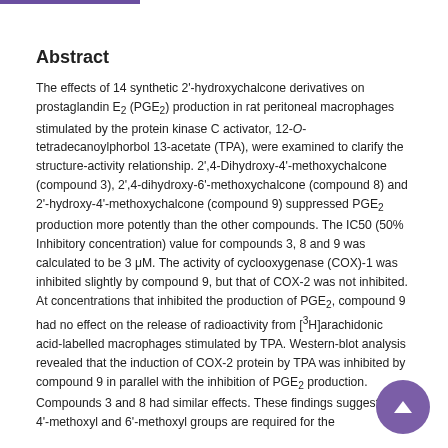Abstract
The effects of 14 synthetic 2'-hydroxychalcone derivatives on prostaglandin E2 (PGE2) production in rat peritoneal macrophages stimulated by the protein kinase C activator, 12-O-tetradecanoylphorbol 13-acetate (TPA), were examined to clarify the structure-activity relationship. 2',4-Dihydroxy-4'-methoxychalcone (compound 3), 2',4-dihydroxy-6'-methoxychalcone (compound 8) and 2'-hydroxy-4'-methoxychalcone (compound 9) suppressed PGE2 production more potently than the other compounds. The IC50 (50% Inhibitory concentration) value for compounds 3, 8 and 9 was calculated to be 3 μM. The activity of cyclooxygenase (COX)-1 was inhibited slightly by compound 9, but that of COX-2 was not inhibited. At concentrations that inhibited the production of PGE2, compound 9 had no effect on the release of radioactivity from [3H]arachidonic acid-labelled macrophages stimulated by TPA. Western-blot analysis revealed that the induction of COX-2 protein by TPA was inhibited by compound 9 in parallel with the inhibition of PGE2 production. Compounds 3 and 8 had similar effects. These findings suggest that 4'-methoxyl and 6'-methoxyl groups are required for the